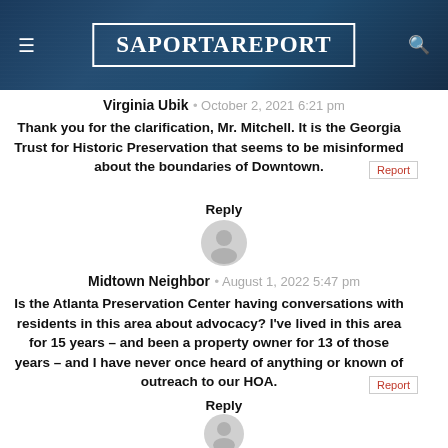SaportaReport
Virginia Ubik · October 2, 2021 6:21 pm
Thank you for the clarification, Mr. Mitchell. It is the Georgia Trust for Historic Preservation that seems to be misinformed about the boundaries of Downtown.
Reply
[Figure (illustration): Gray circular user avatar icon]
Midtown Neighbor · August 1, 2022 5:47 pm
Is the Atlanta Preservation Center having conversations with residents in this area about advocacy? I've lived in this area for 15 years – and been a property owner for 13 of those years – and I have never once heard of anything or known of outreach to our HOA.
Reply
[Figure (illustration): Gray circular user avatar icon]